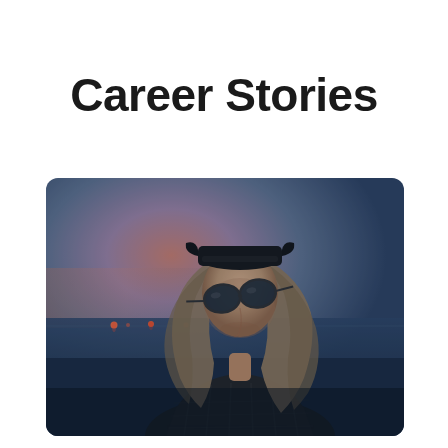Career Stories
[Figure (photo): A young person with long wavy hair wearing sunglasses and a dark baseball cap turned backwards, dressed in a plaid flannel shirt, looking upward against a dusk/twilight sky over water with distant lights visible on the horizon.]